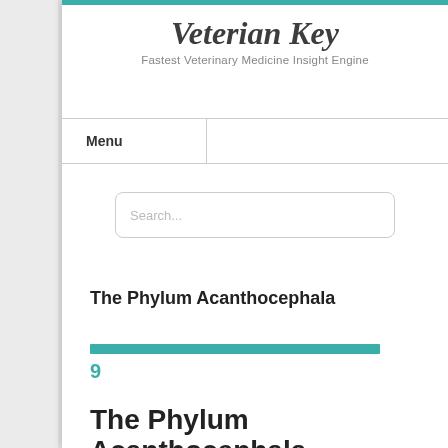Veterian Key
Fastest Veterinary Medicine Insight Engine
Menu
Search...
The Phylum Acanthocephala
9
The Phylum Acanthocephala